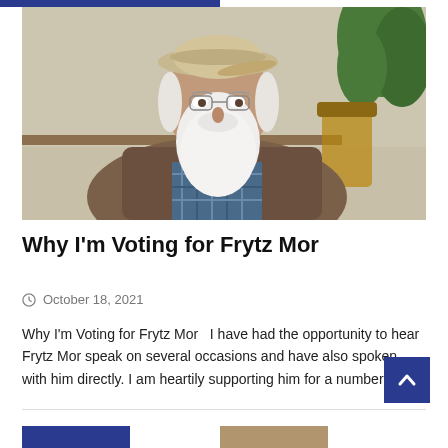[Figure (photo): An elderly man with a large white beard, wearing a flat cap and brown blazer over a plaid shirt, seated indoors with a plant visible in the background.]
Why I'm Voting for Frytz Mor
October 18, 2021
Why I'm Voting for Frytz Mor   I have had the opportunity to hear Frytz Mor speak on several occasions and have also spoken with him directly. I am heartily supporting him for a number [...]